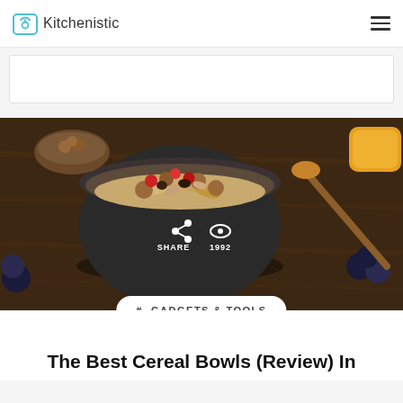Kitchenistic
[Figure (photo): A dark ceramic bowl filled with granola, oats, hazelnuts, cranberries, raisins and almonds on a wooden table, with blueberries, a honey dipper, and a bowl of hazelnuts in the background. Overlay shows share icon with 'SHARE' label and eye icon with '1992' count. A pill-shaped tag reads '# GADGETS & TOOLS'.]
The Best Cereal Bowls (Review) In